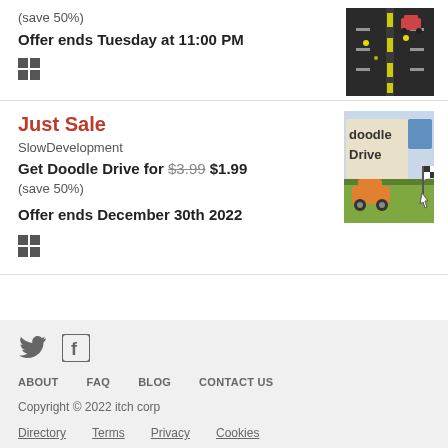(save 50%)
Offer ends Tuesday at 11:00 PM
[Figure (photo): Aerial view of a road with a car and yellow stars]
Just Sale
SlowDevelopment
Get Doodle Drive for $3.99 $1.99 (save 50%)
Offer ends December 30th 2022
[Figure (photo): Doodle Drive game cover art with cartoon car]
ABOUT  FAQ  BLOG  CONTACT US
Copyright © 2022 itch corp
Directory  Terms  Privacy  Cookies